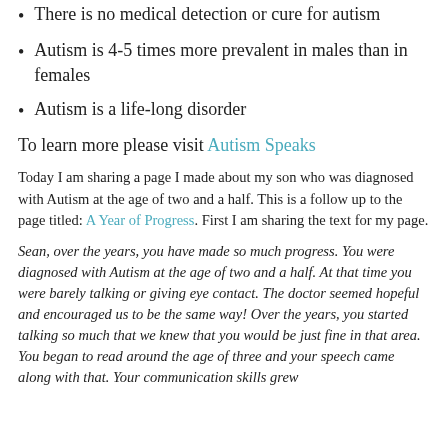There is no medical detection or cure for autism
Autism is 4-5 times more prevalent in males than in females
Autism is a life-long disorder
To learn more please visit Autism Speaks
Today I am sharing a page I made about my son who was diagnosed with Autism at the age of two and a half. This is a follow up to the page titled: A Year of Progress. First I am sharing the text for my page.
Sean, over the years, you have made so much progress. You were diagnosed with Autism at the age of two and a half. At that time you were barely talking or giving eye contact. The doctor seemed hopeful and encouraged us to be the same way! Over the years, you started talking so much that we knew that you would be just fine in that area. You began to read around the age of three and your speech came along with that. Your communication skills grew